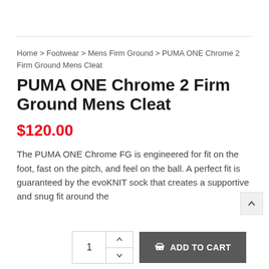Home > Footwear > Mens Firm Ground > PUMA ONE Chrome 2 Firm Ground Mens Cleat
PUMA ONE Chrome 2 Firm Ground Mens Cleat
$120.00
The PUMA ONE Chrome FG is engineered for fit on the foot, fast on the pitch, and feel on the ball. A perfect fit is guaranteed by the evoKNIT sock that creates a supportive and snug fit around the